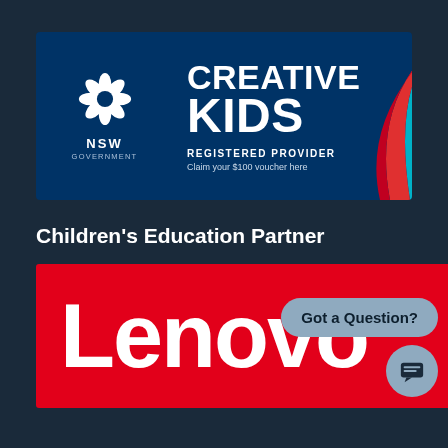[Figure (logo): NSW Government Creative Kids Registered Provider banner. Dark blue background with NSW Government waratah flower logo on the left, 'CREATIVE KIDS' in large white bold text in the center, 'REGISTERED PROVIDER' and 'Claim your $100 voucher here' below, and colorful swoosh arcs (red, teal, green) on the right.]
Children's Education Partner
[Figure (logo): Lenovo logo on a red background with large white 'Lenovo' text. Partially overlapped by chat widget.]
[Figure (other): Chat widget with 'Got a Question?' label and chat icon button.]